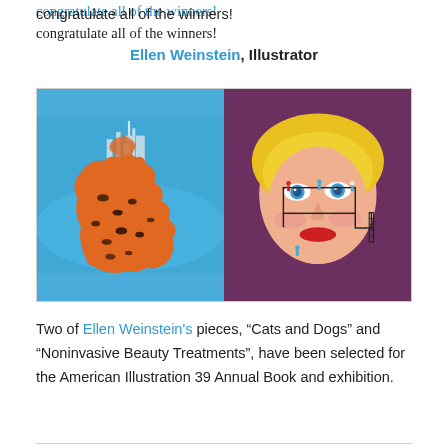congratulate all of the winners!
Ellen Weinstein, Illustrator
[Figure (illustration): Two illustrations by Ellen Weinstein: left image shows an orange cat shape filled with various cats and animals on a blue background with a city skyline; right image shows a stylized portrait of a blonde woman with small figures performing 'beauty treatments' on her face on a purple background.]
Two of Ellen Weinstein's pieces, "Cats and Dogs" and "Noninvasive Beauty Treatments", have been selected for the American Illustration 39 Annual Book and exhibition.